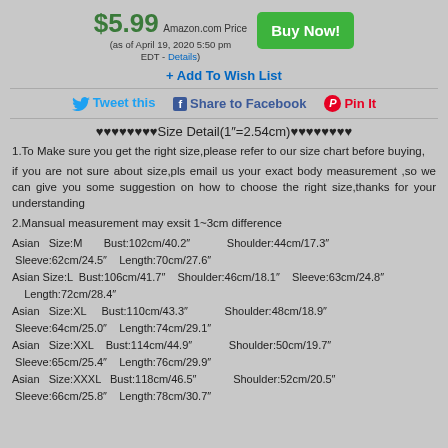$5.99 Amazon.com Price Buy Now! (as of April 19, 2020 5:50 pm EDT - Details)
+ Add To Wish List
Tweet this  Share to Facebook  Pin It
♥♥♥♥♥♥♥♥Size Detail(1"=2.54cm)♥♥♥♥♥♥♥♥
1.To Make sure you get the right size,please refer to our size chart before buying,
if you are not sure about size,pls email us your exact body measurement ,so we can give you some suggestion on how to choose the right size,thanks for your understanding
2.Mansual measurement may exsit 1~3cm difference
Asian  Size:M      Bust:102cm/40.2"           Shoulder:44cm/17.3" Sleeve:62cm/24.5"   Length:70cm/27.6"
Asian Size:L  Bust:106cm/41.7"   Shoulder:46cm/18.1"   Sleeve:63cm/24.8" Length:72cm/28.4"
Asian  Size:XL     Bust:110cm/43.3"           Shoulder:48cm/18.9" Sleeve:64cm/25.0"   Length:74cm/29.1"
Asian  Size:XXL    Bust:114cm/44.9"           Shoulder:50cm/19.7" Sleeve:65cm/25.4"   Length:76cm/29.9"
Asian  Size:XXXL   Bust:118cm/46.5"           Shoulder:52cm/20.5" Sleeve:66cm/25.8"   Length:78cm/30.7"